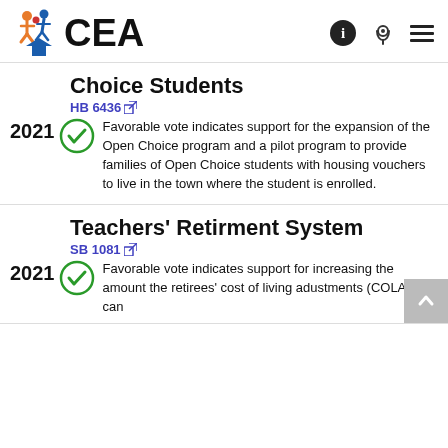CEA
Choice Students
HB 6436
Favorable vote indicates support for the expansion of the Open Choice program and a pilot program to provide families of Open Choice students with housing vouchers to live in the town where the student is enrolled.
Teachers' Retirment System
SB 1081
Favorable vote indicates support for increasing the amount the retirees' cost of living adustments (COLAs) can